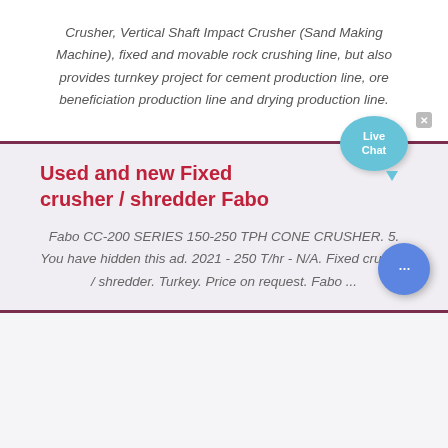Crusher, Vertical Shaft Impact Crusher (Sand Making Machine), fixed and movable rock crushing line, but also provides turnkey project for cement production line, ore beneficiation production line and drying production line.
Used and new Fixed crusher / shredder Fabo
Fabo CC-200 SERIES 150-250 TPH CONE CRUSHER. 5. You have hidden this ad. 2021 - 250 T/hr - N/A. Fixed crusher / shredder. Turkey. Price on request. Fabo ...